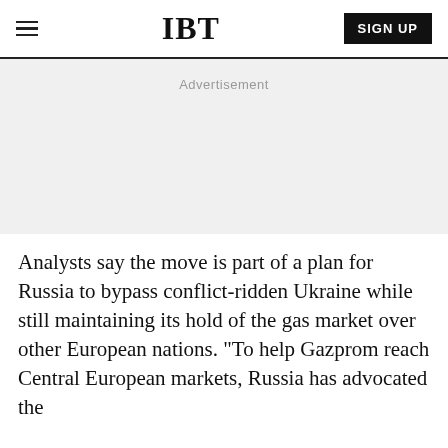IBT
Advertisement
Analysts say the move is part of a plan for Russia to bypass conflict-ridden Ukraine while still maintaining its hold of the gas market over other European nations. "To help Gazprom reach Central European markets, Russia has advocated the